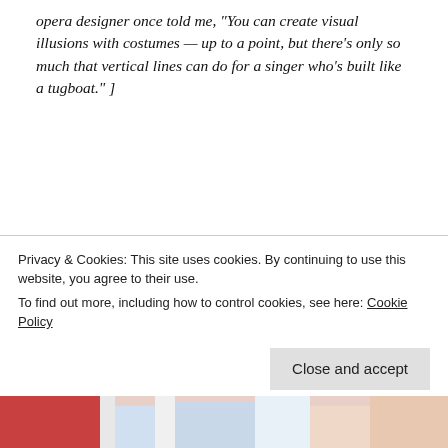opera designer once told me, “You can create visual illusions with costumes — up to a point, but there’s only so much that vertical lines can do for a singer who’s built like a tugboat.” ]
The 1920s Ideal Figure
[Figure (illustration): Vintage 1920s fashion illustration showing two women in blue outfits and cloche hats. One holds what appears to be a riding crop. Watermark text 'wordpress.com' visible on left side.]
Privacy & Cookies: This site uses cookies. By continuing to use this website, you agree to their use.
To find out more, including how to control cookies, see here: Cookie Policy
Close and accept